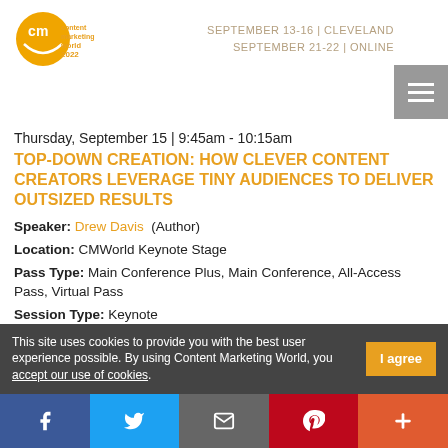[Figure (logo): Content Marketing World 2022 logo — circular CM icon in orange/gold with 'content marketing world 2022' text]
SEPTEMBER 13-16 | CLEVELAND
SEPTEMBER 21-22 | ONLINE
Thursday, September 15 | 9:45am - 10:15am
TOP-DOWN CREATION: HOW CLEVER CONTENT CREATORS LEVERAGE TINY AUDIENCES TO DELIVER OUTSIZED RESULTS
Speaker: Drew Davis  (Author)
Location: CMWorld Keynote Stage
Pass Type: Main Conference Plus, Main Conference, All-Access Pass, Virtual Pass
Session Type: Keynote
This site uses cookies to provide you with the best user experience possible. By using Content Marketing World, you accept our use of cookies.
[Figure (infographic): Social share bar with Facebook, Twitter, Email, Pinterest, and More icons]